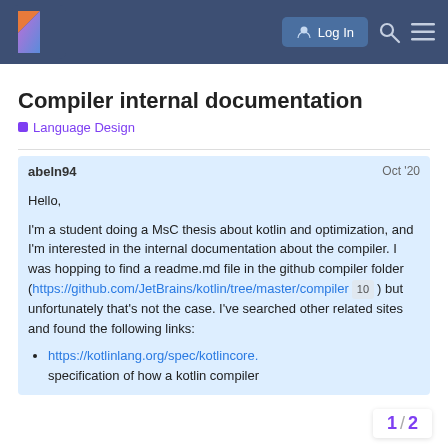Kotlin Discuss — Log In
Compiler internal documentation
Language Design
abeln94   Oct '20
Hello,

I'm a student doing a MsC thesis about kotlin and optimization, and I'm interested in the internal documentation about the compiler. I was hopping to find a readme.md file in the github compiler folder (https://github.com/JetBrains/kotlin/tree/master/compiler 10 ) but unfortunately that's not the case. I've searched other related sites and found the following links:
https://kotlinlang.org/spec/kotlincore. specification of how a kotlin compiler